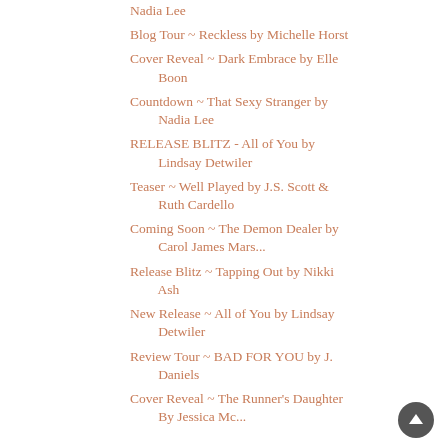Nadia Lee
Blog Tour ~ Reckless by Michelle Horst
Cover Reveal ~ Dark Embrace by Elle Boon
Countdown ~ That Sexy Stranger by Nadia Lee
RELEASE BLITZ - All of You by Lindsay Detwiler
Teaser ~ Well Played by J.S. Scott & Ruth Cardello
Coming Soon ~ The Demon Dealer by Carol James Mars...
Release Blitz ~ Tapping Out by Nikki Ash
New Release ~ All of You by Lindsay Detwiler
Review Tour ~ BAD FOR YOU by J. Daniels
Cover Reveal ~ The Runner's Daughter By Jessica Mc...